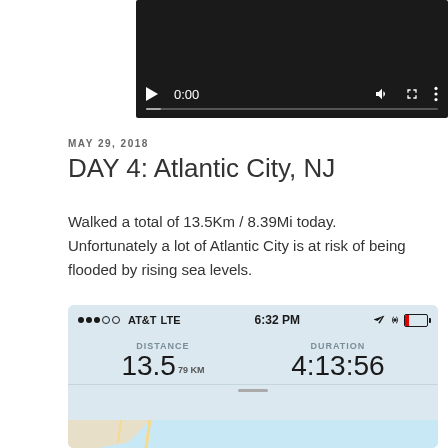[Figure (screenshot): Video player control bar showing 0:00 timestamp on dark background]
MAY 29, 2018
DAY 4: Atlantic City, NJ
Walked a total of 13.5Km / 8.39Mi today.  Unfortunately a lot of Atlantic City is at risk of being flooded by rising sea levels.
[Figure (screenshot): Fitness tracking app screenshot showing AT&T LTE signal at 6:32 PM, Distance 13.5 79 KM, Duration 4:13:56, with map of Atlantic City area showing route 87 and Absecon Inlet]